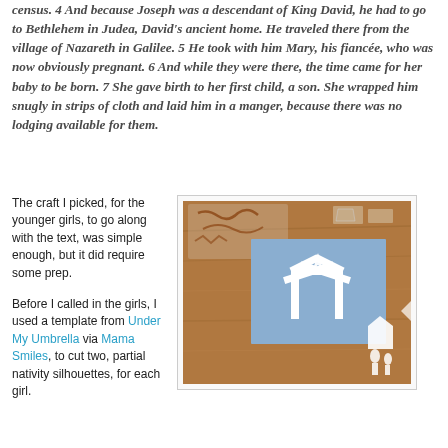census. 4 And because Joseph was a descendant of King David, he had to go to Bethlehem in Judea, David's ancient home. He traveled there from the village of Nazareth in Galilee. 5 He took with him Mary, his fiancée, who was now obviously pregnant. 6 And while they were there, the time came for her baby to be born. 7 She gave birth to her first child, a son. She wrapped him snugly in strips of cloth and laid him in a manger, because there was no lodging available for them.
The craft I picked, for the younger girls, to go along with the text, was simple enough, but it did require some prep.
[Figure (photo): A blue card/paper with white silhouette of a manger/stable with a star, surrounded by cut-out paper nativity silhouette pieces on a wooden table.]
Before I called in the girls, I used a template from Under My Umbrella via Mama Smiles, to cut two, partial nativity silhouettes, for each girl.